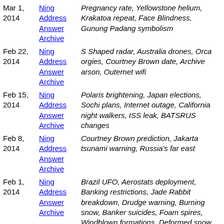| Date | Links | Topics |
| --- | --- | --- |
| Mar 1, 2014 | Ning
Address
Answer
Archive | Pregnancy rate, Yellowstone helium, Krakatoa repeat, Face Blindness, Gunung Padang symbolism |
| Feb 22, 2014 | Ning
Address
Answer
Archive | S Shaped radar, Australia drones, Orca orgies, Courtney Brown date, Archive arson, Outernet wifi |
| Feb 15, 2014 | Ning
Address
Answer
Archive | Polaris brightening, Japan elections, Sochi plans, Internet outage, California night walkers, ISS leak, BATSRUS changes |
| Feb 8, 2014 | Ning
Address
Answer
Archive | Courtney Brown prediction, Jakarta tsunami warning, Russia's far east |
| Feb 1, 2014 | Ning
Address
Answer
Archive | Brazil UFO, Aerostats deployment, Banking restrictions, Jade Rabbit breakdown, Drudge warning, Burning snow, Banker suicides, Foam spires, Windblown formations, Deformed snow crystals |
| Jan 25, 2014 | Ning
Address | Tall Whites, Moon space ship, Roswell school shooting, Masaru Emoto water |